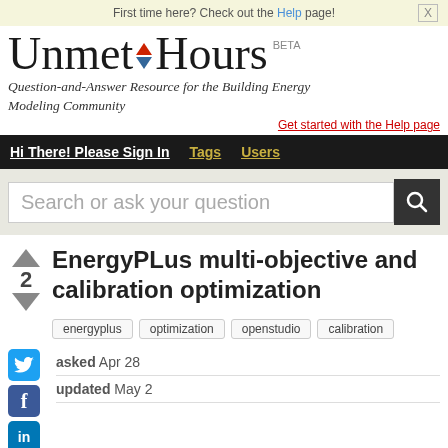First time here? Check out the Help page!
Unmet Hours BETA
Question-and-Answer Resource for the Building Energy Modeling Community
Get started with the Help page
Hi There! Please Sign In   Tags   Users
Search or ask your question
EnergyPLus multi-objective and calibration optimization
energyplus
optimization
openstudio
calibration
asked Apr 28
updated May 2